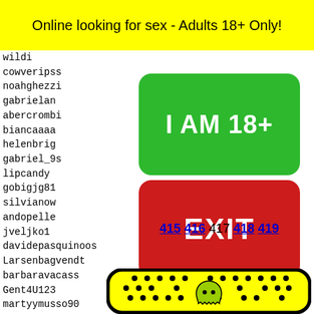Online looking for sex - Adults 18+ Only!
wildi
cowveripss
noahghezzi
gabrielan
abercrombi
biancaaaa
helenbrig
gabriel_9s
lipcandy
gobigjg81
silvianow
andopelle
jveljko1
davidepasquinoos
Larsenbagvendt
barbaravacass
Gent4U123
martyymusso90
panshacoronado
iwanttohesavage
onpant
hallun
badazz
inkita
Goodwi
hornyb
[Figure (other): Green button with text I AM 18+]
[Figure (other): Red button with text EXIT]
415 416 417 418 419
[Figure (other): Snapchat ghost logo on yellow background with black dots pattern]